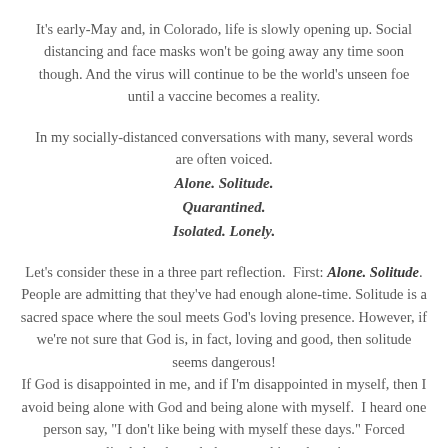It's early-May and, in Colorado, life is slowly opening up. Social distancing and face masks won't be going away any time soon though. And the virus will continue to be the world's unseen foe until a vaccine becomes a reality.
In my socially-distanced conversations with many, several words are often voiced.
Alone. Solitude.
Quarantined.
Isolated. Lonely.
Let's consider these in a three part reflection.  First: Alone. Solitude.
People are admitting that they've had enough alone-time. Solitude is a sacred space where the soul meets God's loving presence. However, if we're not sure that God is, in fact, loving and good, then solitude seems dangerous!
If God is disappointed in me, and if I'm disappointed in myself, then I avoid being alone with God and being alone with myself.  I heard one person say, "I don't like being with myself these days." Forced solitude has brought her to seeking obsessive